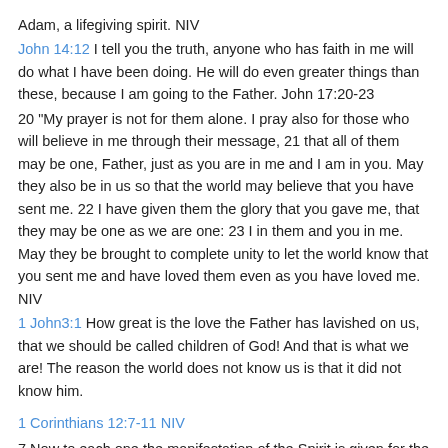Adam, a lifegiving spirit. NIV
John 14:12 I tell you the truth, anyone who has faith in me will do what I have been doing. He will do even greater things than these, because I am going to the Father. John 17:20-23
20 "My prayer is not for them alone. I pray also for those who will believe in me through their message, 21 that all of them may be one, Father, just as you are in me and I am in you. May they also be in us so that the world may believe that you have sent me. 22 I have given them the glory that you gave me, that they may be one as we are one: 23 I in them and you in me. May they be brought to complete unity to let the world know that you sent me and have loved them even as you have loved me. NIV
1 John3:1 How great is the love the Father has lavished on us, that we should be called children of God! And that is what we are! The reason the world does not know us is that it did not know him.
1 Corinthians 12:7-11 NIV
7 Now to each one the manifestation of the Spirit is given for the common good. 8 To one there is given through the Spirit the message of wisdom, to another the message of knowledge by means of the same Spirit, 9 to another faith by the same Spirit, to another gifts of healing by that one Spirit, 10 to another miraculous powers, to another prophecy, to another distinguishing between spirits, to another speaking in different kinds of